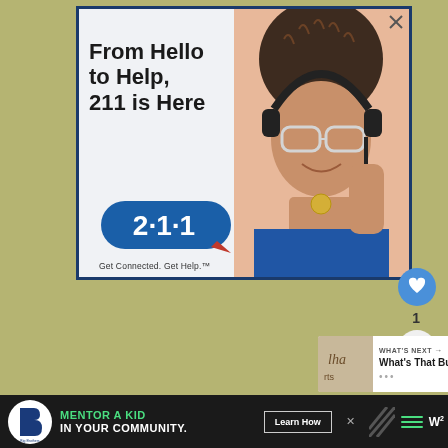[Figure (screenshot): Advertisement for 211 helpline service. Shows a woman wearing headphones and glasses smiling, with text 'From Hello to Help, 211 is Here' and the 211 logo badge with tagline 'Get Connected. Get Help.' Blue border around ad.]
[Figure (screenshot): Social media UI elements: heart/like button (blue circle), like count '1', and share button.]
[Figure (screenshot): What's Next panel showing thumbnail image and text 'WHAT'S NEXT → What's That Bug?' with loading dots.]
[Figure (screenshot): Bottom banner ad for Big Brothers Big Sisters. Black background with 'MENTOR A KID IN YOUR COMMUNITY.' text in green and white, Learn How button, and network TV logos.]